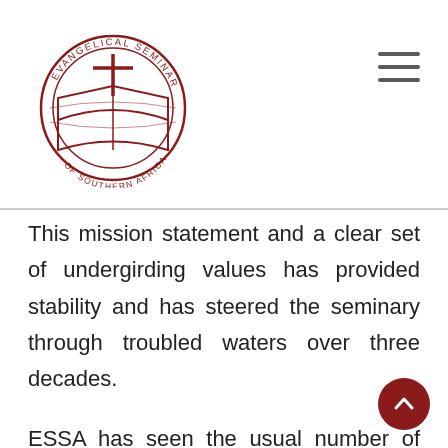[Figure (logo): Evangelical Seminary of Southern Africa circular logo with cross and open book, red outline]
This mission statement and a clear set of undergirding values has provided stability and has steered the seminary through troubled waters over three decades.
ESSA has seen the usual number of ups and downs in the past 38 years. A serious leadership crisis in 2008 has led to a reduction in staff from 20 to 5 full-time staff members by mid-2010. The Seminary has been